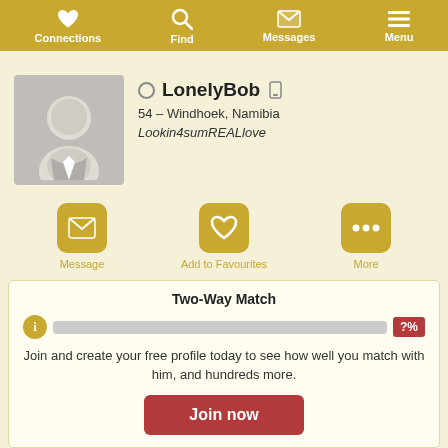Connections | Find | Messages | Menu
LonelyBob
54 – Windhoek, Namibia
Lookin4sumREALlove
[Figure (illustration): Gray silhouette avatar of a male person in a suit, on a gray background]
Message | Add to Favourites | More
Two-Way Match
Join and create your free profile today to see how well you match with him, and hundreds more.
Join now
Online: More than 6 months ago